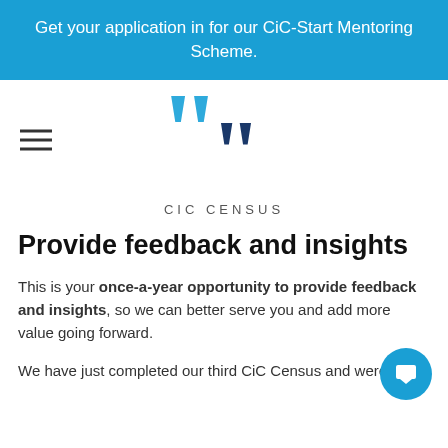Get your application in for our CiC-Start Mentoring Scheme.
[Figure (illustration): Hamburger menu icon on the left, large blue quotation marks logo centered]
CIC CENSUS
Provide feedback and insights
This is your once-a-year opportunity to provide feedback and insights, so we can better serve you and add more value going forward.
We have just completed our third CiC Census and were